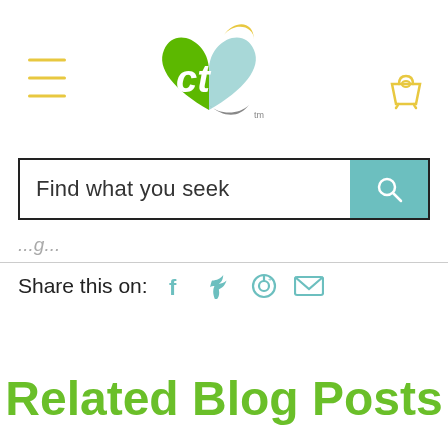[Figure (logo): Colorful heart-shaped logo with stylized letters 'ct' in green and grey, with yellow and teal color accents. Website navigation header with hamburger menu on left and cart icon on right.]
Find what you seek
Share this on:
Related Blog Posts